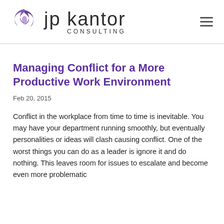jp kantor CONSULTING
Managing Conflict for a More Productive Work Environment
Feb 20, 2015
Conflict in the workplace from time to time is inevitable. You may have your department running smoothly, but eventually personalities or ideas will clash causing conflict. One of the worst things you can do as a leader is ignore it and do nothing. This leaves room for issues to escalate and become even more problematic